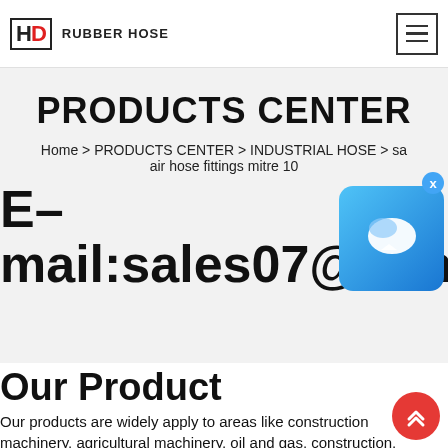HD RUBBER HOSE
PRODUCTS CENTER
Home > PRODUCTS CENTER > INDUSTRIAL HOSE > sa... air hose fittings mitre 10
E-mail:sales07@lethose.co
Our Product
Our products are widely apply to areas like construction machinery, agricultural machinery, oil and gas, construction,